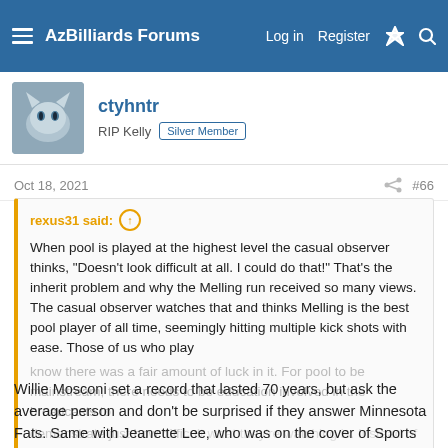AzBilliards Forums  Log in  Register
ctyhntr
RIP Kelly  Silver Member
Oct 18, 2021  #66
rexus31 said:
When pool is played at the highest level the casual observer thinks, "Doesn't look difficult at all. I could do that!" That's the inherit problem and why the Melling run received so many views. The casual observer watches that and thinks Melling is the best pool player of all time, seemingly hitting multiple kick shots with ease. Those of us who play know there was a fair amount of luck in it. For pool to be mainstream, there needs to be education involved in the broadcasts to demonstrate just how difficult what they're watching is. Instead of
Click to expand...
Willie Mosconi set a record that lasted 70 years, but ask the average person and don't be surprised if they answer Minnesota Fats. Same with Jeanette Lee, who was on the cover of Sports Illustrated last week. When was a top pool player was on the